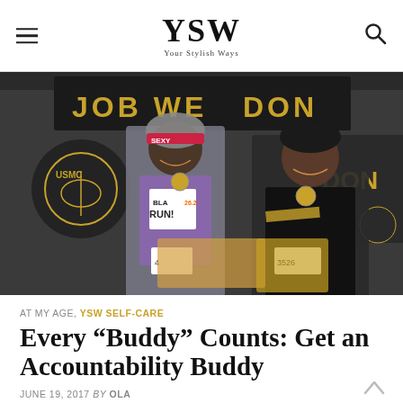YSW — Your Stylish Ways
[Figure (photo): Two smiling women standing in front of a black and gold Marine Corps banner, wearing marathon medals and holding towels. Race bibs visible. One woman wears a purple shirt and headband labeled SEXY, the other wears a black outfit.]
AT MY AGE, YSW SELF-CARE
Every “Buddy” Counts: Get an Accountability Buddy
JUNE 19, 2017 by OLA